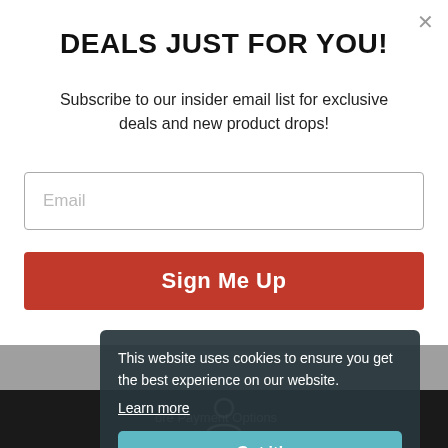DEALS JUST FOR YOU!
Subscribe to our insider email list for exclusive deals and new product drops!
Email
Sign Me Up
This website uses cookies to ensure you get the best experience on our website.
Learn more
More Payment Options
Got it!